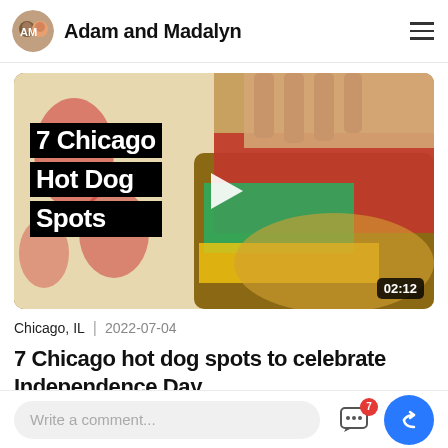Adam and Madalyn
[Figure (screenshot): Video thumbnail showing a Chicago-style hot dog with text overlay '7 Chicago Hot Dog Spots' and a play button. Duration badge shows 02:12.]
Chicago, IL  2022-07-04
7 Chicago hot dog spots to celebrate Independence Day
Write a comment...